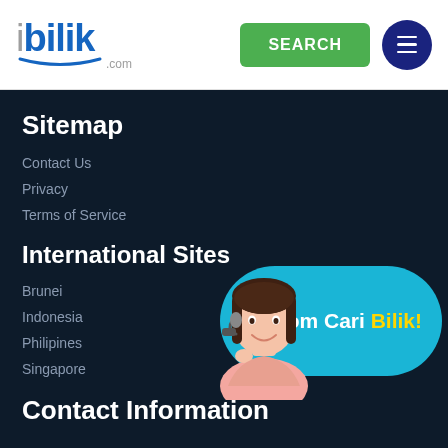[Figure (logo): ibilik.com logo with blue text and smile underline]
[Figure (screenshot): Green SEARCH button]
[Figure (screenshot): Dark navy hamburger menu button]
Sitemap
Contact Us
Privacy
Terms of Service
International Sites
[Figure (illustration): Customer service woman with headset, Jom Cari Bilik! promotional banner on blue bubble background]
Brunei
Indonesia
Philipines
Singapore
Contact Information